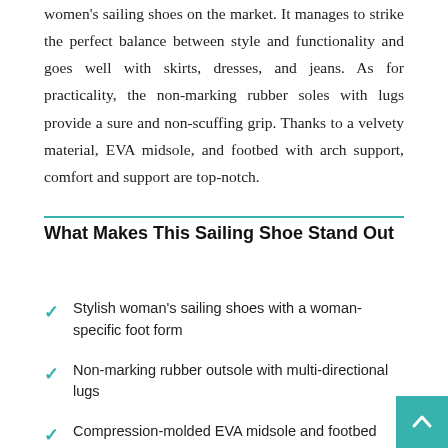women's sailing shoes on the market. It manages to strike the perfect balance between style and functionality and goes well with skirts, dresses, and jeans. As for practicality, the non-marking rubber soles with lugs provide a sure and non-scuffing grip. Thanks to a velvety material, EVA midsole, and footbed with arch support, comfort and support are top-notch.
What Makes This Sailing Shoe Stand Out
Stylish woman's sailing shoes with a woman-specific foot form
Non-marking rubber outsole with multi-directional lugs
Compression-molded EVA midsole and footbed